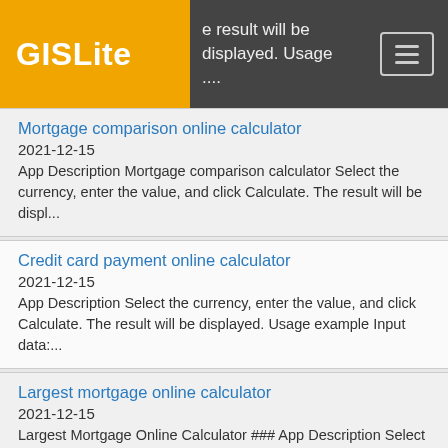GISSLite — result will be displayed. Usage ....
Mortgage comparison online calculator
2021-12-15
App Description Mortgage comparison calculator Select the currency, enter the value, and click Calculate. The result will be displ...
Credit card payment online calculator
2021-12-15
App Description Select the currency, enter the value, and click Calculate. The result will be displayed. Usage example Input data:...
Largest mortgage online calculator
2021-12-15
Largest Mortgage Online Calculator ### App Description Select the currency, enter the value, and click Calculate. The result will ...
Monthly Mortgage Online Calculator